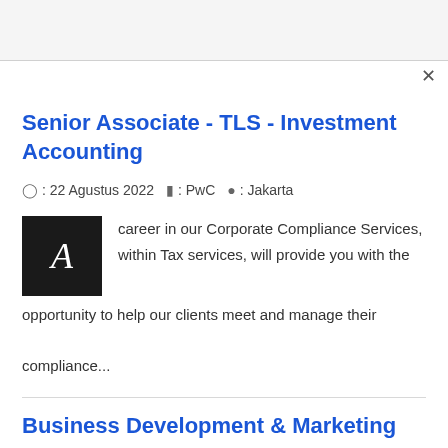Senior Associate - TLS - Investment Accounting
◷ : 22 Agustus 2022 🏢 : PwC 📍 : Jakarta
career in our Corporate Compliance Services, within Tax services, will provide you with the opportunity to help our clients meet and manage their compliance...
Business Development & Marketing